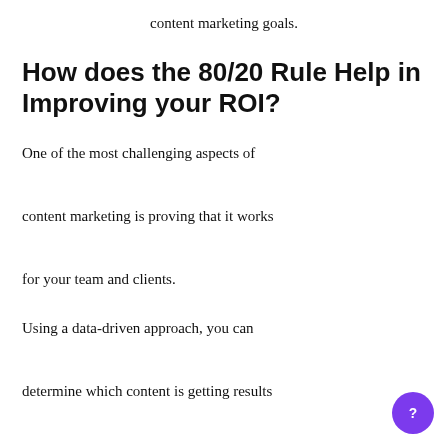content marketing goals.
How does the 80/20 Rule Help in Improving your ROI?
One of the most challenging aspects of content marketing is proving that it works for your team and clients.
Using a data-driven approach, you can determine which content is getting results for your audience and why. Not only does this allow you to continue creating the right content for your target audience,